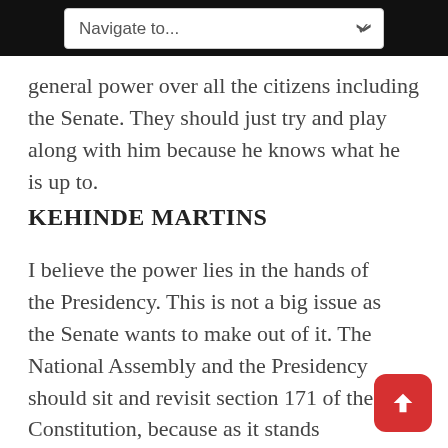Navigate to...
general power over all the citizens including the Senate. They should just try and play along with him because he knows what he is up to.
KEHINDE MARTINS
I believe the power lies in the hands of the Presidency. This is not a big issue as the Senate wants to make out of it. The National Assembly and the Presidency should sit and revisit section 171 of the Constitution, because as it stands